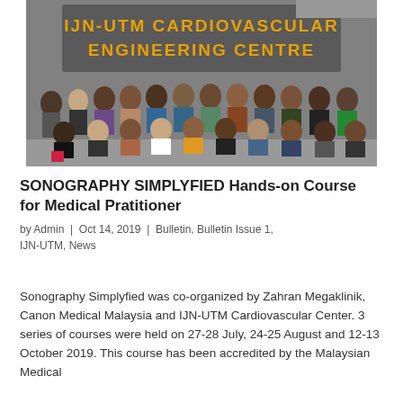[Figure (photo): Group photo of approximately 20 people posed inside the IJN-UTM Cardiovascular Engineering Centre, with the centre's signage visible in orange letters on the wall behind them.]
SONOGRAPHY SIMPLYFIED Hands-on Course for Medical Pratitioner
by Admin | Oct 14, 2019 | Bulletin, Bulletin Issue 1, IJN-UTM, News
Sonography Simplyfied was co-organized by Zahran Megaklinik, Canon Medical Malaysia and IJN-UTM Cardiovascular Center. 3 series of courses were held on 27-28 July, 24-25 August and 12-13 October 2019. This course has been accredited by the Malaysian Medical